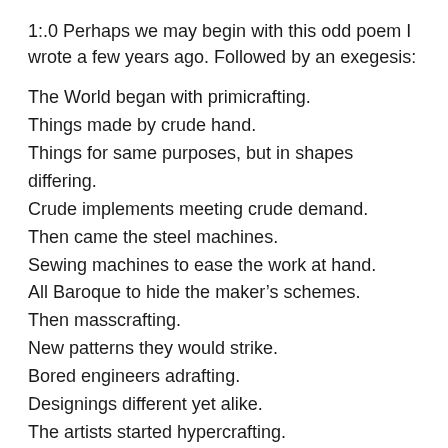1:.0 Perhaps we may begin with this odd poem I wrote a few years ago. Followed by an exegesis:
The World began with primicrafting.
Things made by crude hand.
Things for same purposes, but in shapes differing.
Crude implements meeting crude demand.
Then came the steel machines.
Sewing machines to ease the work at hand.
All Baroque to hide the maker’s schemes.
Then masscrafting.
New patterns they would strike.
Bored engineers adrafting.
Designings different yet alike.
The artists started hypercrafting.
Paintings not by human hand.
Than Nature they were more exacting.